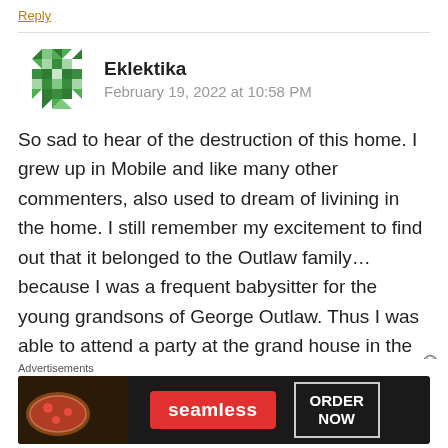Reply
Eklektika
February 19, 2022 at 10:58 PM
So sad to hear of the destruction of this home. I grew up in Mobile and like many other commenters, also used to dream of livining in the home. I still remember my excitement to find out that it belonged to the Outlaw family… because I was a frequent babysitter for the young grandsons of George Outlaw. Thus I was able to attend a party at the grand house in the 1980's, and one of the Outlaws confirmed the poker game story.
[Figure (infographic): Seamless pizza advertisement banner with ORDER NOW call to action]